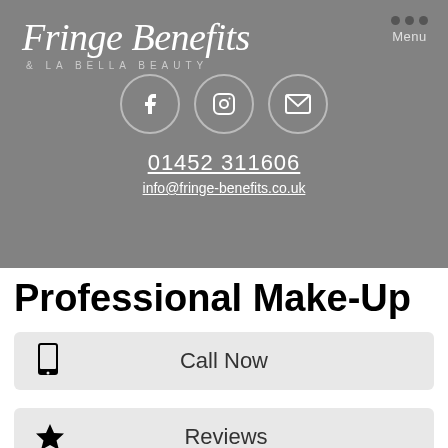[Figure (logo): Fringe Benefits & La Bella Beauty logo with cursive/italic white text on grey background]
Menu
[Figure (infographic): Three circular social media icons: Facebook, Instagram, and email on grey background]
01452 311606
info@fringe-benefits.co.uk
Professional Make-Up
Call Now
Reviews